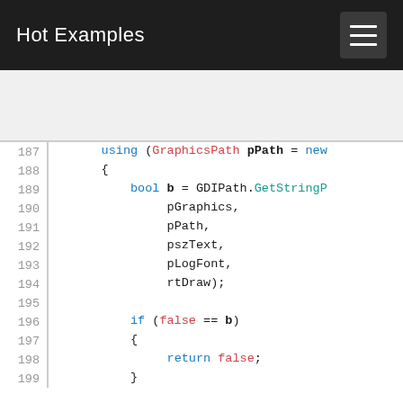Hot Examples
[Figure (screenshot): Code snippet showing lines 187-199 of C# source code with syntax highlighting. Lines include: using (GraphicsPath pPath = new, {, bool b = GDIPath.GetStringP..., pGraphics,, pPath,, pszText,, pLogFont,, rtDraw);, (blank), if (false == b), {, return false;, }]